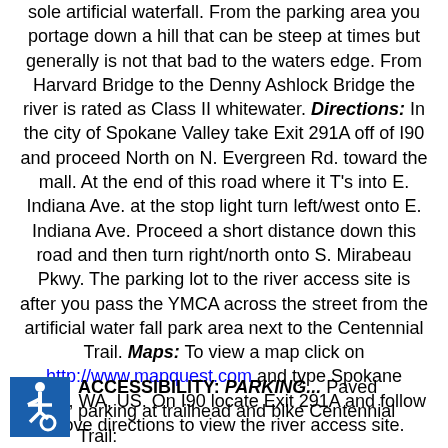sole artificial waterfall. From the parking area you portage down a hill that can be steep at times but generally is not that bad to the waters edge. From Harvard Bridge to the Denny Ashlock Bridge the river is rated as Class II whitewater. Directions: In the city of Spokane Valley take Exit 291A off of I90 and proceed North on N. Evergreen Rd. toward the mall. At the end of this road where it T's into E. Indiana Ave. at the stop light turn left/west onto E. Indiana Ave. Proceed a short distance down this road and then turn right/north onto S. Mirabeau Pkwy. The parking lot to the river access site is after you pass the YMCA across the street from the artificial water fall park area next to the Centennial Trail. Maps: To view a map click on http://www.mapquest.com and type Spokane Valley, WA, US. On I90 locate Exit 291A and follow above directions to view the river access site.
ACCESSIBILITY: PARKING... Paved parking at trailhead and bike Centennial Trail: